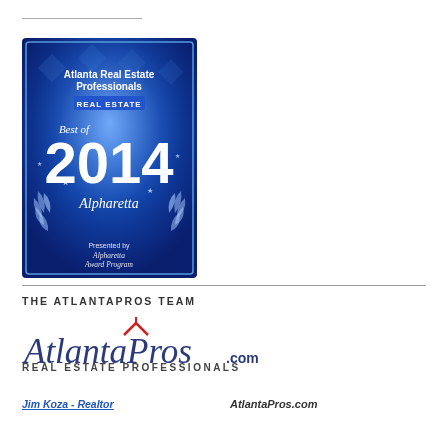[Figure (photo): Best of 2014 Alpharetta award badge for Atlanta Real Estate Professionals Real Estate, presented by Alpharetta Award Program. Blue background with laurel wreath and large '2014' text.]
THE ATLANTAPROS TEAM
[Figure (logo): AtlantaPros.com Real Estate Professionals logo with script text and house icon in red above the 'A', with REAL ESTATE PROFESSIONALS text below.]
REAL ESTATE PROFESSIONALS
Jim Koza - Realtor
AtlantaPros.com